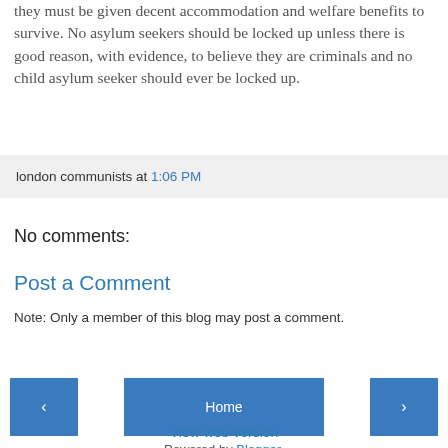they must be given decent accommodation and welfare benefits to survive. No asylum seekers should be locked up unless there is good reason, with evidence, to believe they are criminals and no child asylum seeker should ever be locked up.
london communists at 1:06 PM
No comments:
Post a Comment
Note: Only a member of this blog may post a comment.
Home | View web version | Powered by Blogger.